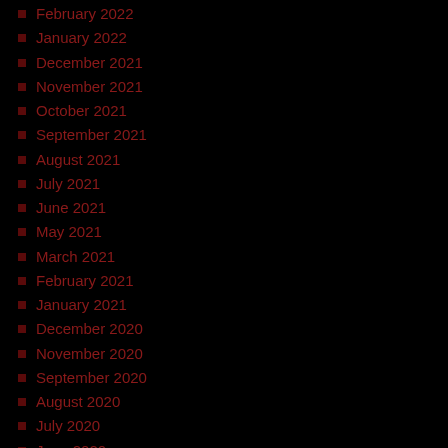February 2022
January 2022
December 2021
November 2021
October 2021
September 2021
August 2021
July 2021
June 2021
May 2021
March 2021
February 2021
January 2021
December 2020
November 2020
September 2020
August 2020
July 2020
June 2020
May 2020
April 2020
March 2020
February 2020
January 2020